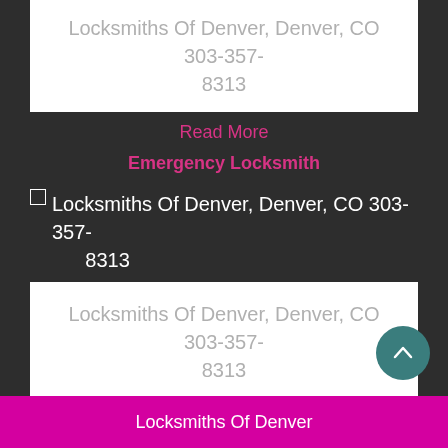Locksmiths Of Denver, Denver, CO 303-357-8313
Read More
Emergency Locksmith
[Figure (other): Broken image placeholder with alt text: Locksmiths Of Denver, Denver, CO 303-357-8313]
Locksmiths Of Denver, Denver, CO 303-357-8313
Read More
Locksmiths Of Denver